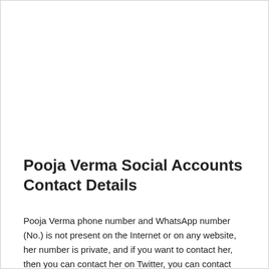Pooja Verma Social Accounts Contact Details
Pooja Verma phone number and WhatsApp number (No.) is not present on the Internet or on any website, her number is private, and if you want to contact her, then you can contact her on Twitter, you can contact Pooja Verma on her email Can also contact, which we have given below. Pooja Verma has also created a website, though it